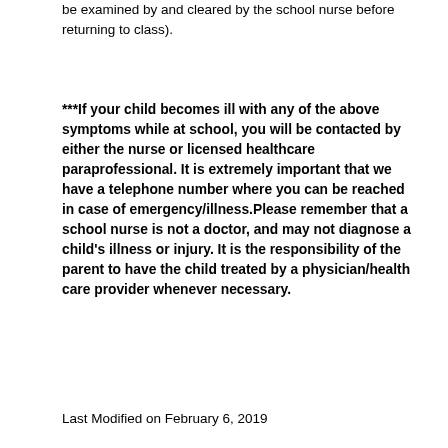be examined by and cleared by the school nurse before returning to class).
***If your child becomes ill with any of the above symptoms while at school, you will be contacted by either the nurse or licensed healthcare paraprofessional. It is extremely important that we have a telephone number where you can be reached in case of emergency/illness.Please remember that a school nurse is not a doctor, and may not diagnose a child’s illness or injury. It is the responsibility of the parent to have the child treated by a physician/health care provider whenever necessary.
Last Modified on February 6, 2019